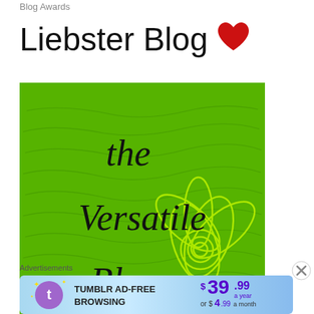Blog Awards
Liebster Blog ♥
[Figure (illustration): Green background badge with handwritten-style text reading 'the Versatile Blogger' with a flower/lotus illustration and cursive script background texture]
Advertisements
[Figure (screenshot): Tumblr advertisement banner: Tumblr Ad-Free Browsing $39.99 a year or $4.99 a month]